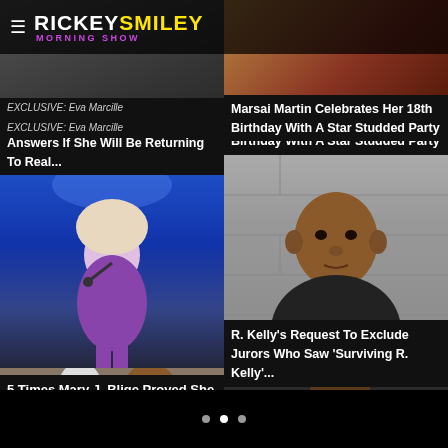Rickey Smiley Morning Show
[Figure (screenshot): Rickey Smiley Morning Show website screenshot showing news articles in a two-column grid layout]
EXCLUSIVE: Eva Marcille Answers If She Will Be Returning To Real...
Marsai Martin Celebrates Her 18th Birthday With A Star Studded Party
[Figure (photo): Mary J. Blige performing on stage in a purple outfit]
5 Times Mary J. Blige Proved She Is The Queen Of Bikinis
[Figure (photo): R. Kelly mugshot photo against gray wall]
R. Kelly's Request To Exclude Jurors Who Saw 'Surviving R. Kelly'...
[Figure (photo): Two people posing together outdoors]
[Figure (photo): Person with fist raised wearing black hat]